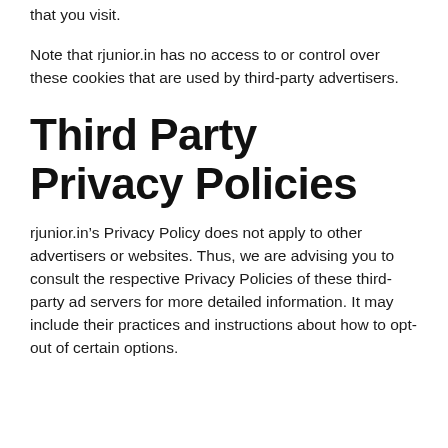that you visit.
Note that rjunior.in has no access to or control over these cookies that are used by third-party advertisers.
Third Party Privacy Policies
rjunior.in’s Privacy Policy does not apply to other advertisers or websites. Thus, we are advising you to consult the respective Privacy Policies of these third-party ad servers for more detailed information. It may include their practices and instructions about how to opt-out of certain options.